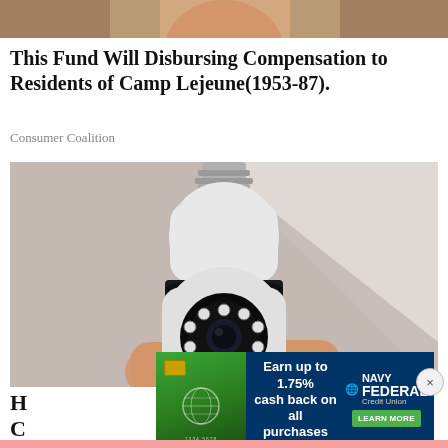[Figure (photo): Partial photo at top of page, showing a person - cropped to just top portion]
This Fund Will Disbursing Compensation to Residents of Camp Lejeune(1953-87).
Consumer Coalition
[Figure (photo): A person holding a white security camera shaped like a light bulb, with a screw base at top and circular lens with LED ring at front]
H... ...ing Think... The... D... all C...
[Figure (infographic): Navy Federal Credit Union advertisement banner. Shows a green credit card on left, text 'Earn up to 1.75% cash back on all purchases' in center, Navy Federal Credit Union logo on right with a green LEARN MORE button]